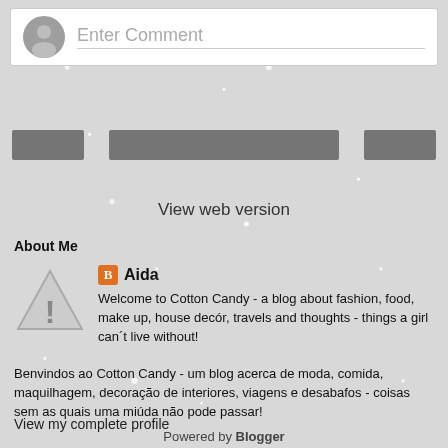[Figure (other): Comment input box with grey avatar icon and 'Enter Comment' placeholder text]
[Figure (other): Three grey rounded-rectangle buttons in a horizontal row (social sharing or navigation buttons)]
View web version
About Me
[Figure (other): Warning triangle icon (grey triangle with exclamation mark) as profile placeholder, next to Blogger icon and name 'Aida']
Welcome to Cotton Candy - a blog about fashion, food, make up, house decór, travels and thoughts - things a girl can´t live without! Benvindos ao Cotton Candy - um blog acerca de moda, comida, maquilhagem, decoração de interiores, viagens e desabafos - coisas sem as quais uma miúda não pode passar!
View my complete profile
Powered by Blogger